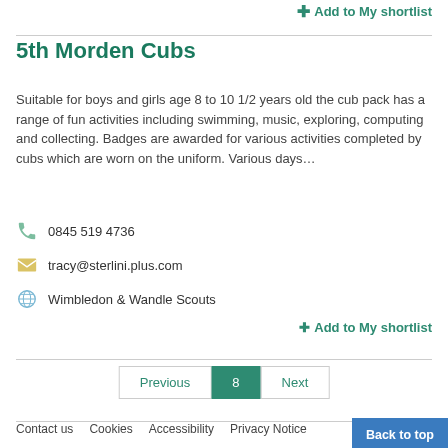+ Add to My shortlist
5th Morden Cubs
Suitable for boys and girls age 8 to 10 1/2 years old the cub pack has a range of fun activities including swimming, music, exploring, computing and collecting. Badges are awarded for various activities completed by cubs which are worn on the uniform. Various days…
0845 519 4736
tracy@sterlini.plus.com
Wimbledon & Wandle Scouts
+ Add to My shortlist
Previous  8  Next
Contact us   Cookies   Accessibility   Privacy Notice   Back to top